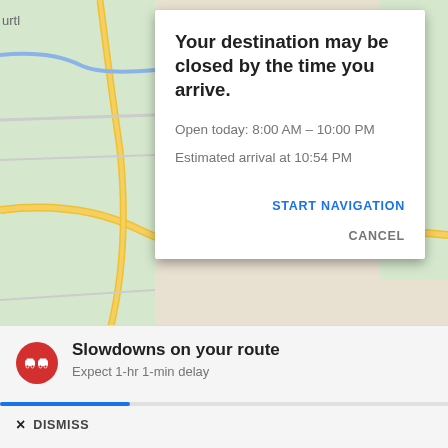[Figure (screenshot): Google Maps screenshot showing a map background with road overlays (yellow roads, blue water features) partially visible behind a modal dialog. Location shows area near Minnetonka. Google branding visible at bottom left of map area.]
Your destination may be closed by the time you arrive.
Open today: 8:00 AM – 10:00 PM
Estimated arrival at 10:54 PM
START NAVIGATION
CANCEL
Slowdowns on your route
Expect 1-hr 1-min delay
× DISMISS